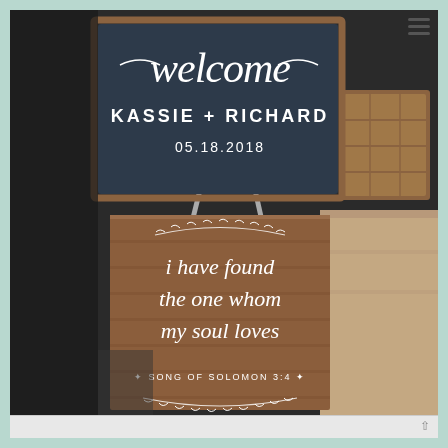[Figure (photo): Wedding venue photo showing two decorative signs on easels. Top sign: dark navy/black chalkboard-style sign reading 'welcome' in script at top, then 'KASSIE + RICHARD' and '05.18.2018' in white text. Bottom sign: rustic wooden sign reading 'i have found the one whom my soul loves' in white script, with 'SONG OF SOLOMON 3:4' at the bottom, decorated with a white laurel/leaf wreath border. To the right is a wooden crate and draped table.]